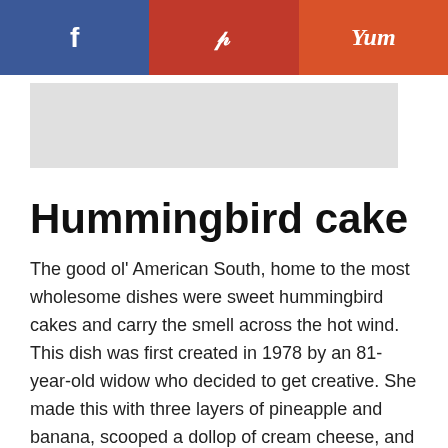f | p | Yum
[Figure (other): Placeholder image area, light gray background]
Hummingbird cake
The good ol' American South, home to the most wholesome dishes were sweet hummingbird cakes and carry the smell across the hot wind. This dish was first created in 1978 by an 81-year-old widow who decided to get creative. She made this with three layers of pineapple and banana, scooped a dollop of cream cheese, and baked this legend.